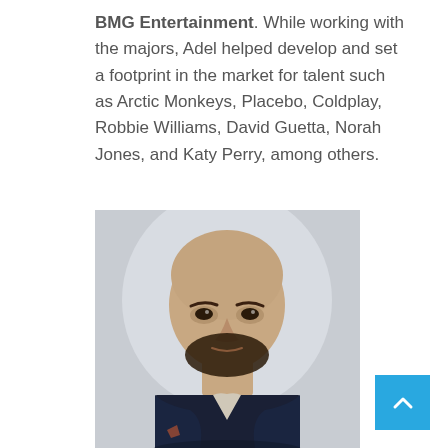BMG Entertainment. While working with the majors, Adel helped develop and set a footprint in the market for talent such as Arctic Monkeys, Placebo, Coldplay, Robbie Williams, David Guetta, Norah Jones, and Katy Perry, among others.
[Figure (photo): Professional headshot of a bald man with a beard wearing a dark navy blazer, looking directly at the camera against a light grey background.]